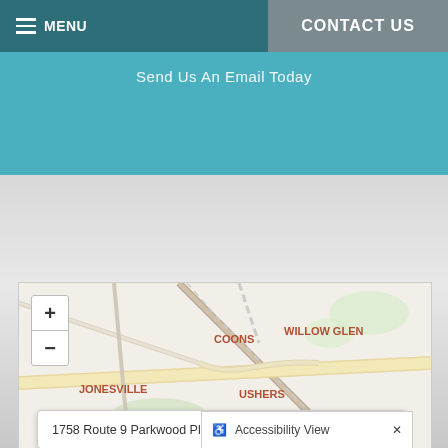MENU
CONTACT US
CONTACT US
Send Us An Email Today
[Figure (map): Interactive map showing location near Jonesville, Ushers, Coons, Willow Glen area with zoom controls (+/-)]
1758 Route 9 Parkwood Plaza, Clifton Park, NY, 12065, USA
Accessibility View